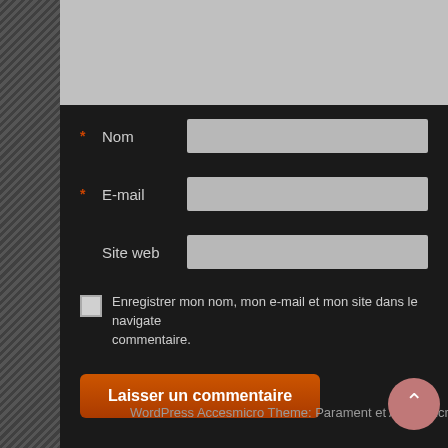[Figure (screenshot): WordPress comment form with dark background, fields for Nom, E-mail, Site web, a checkbox for saving info, and a submit button]
* Nom
* E-mail
Site web
Enregistrer mon nom, mon e-mail et mon site dans le navigateur pour mon prochain commentaire.
Laisser un commentaire
WordPress Accesmicro Theme: Parament et Accesmicro